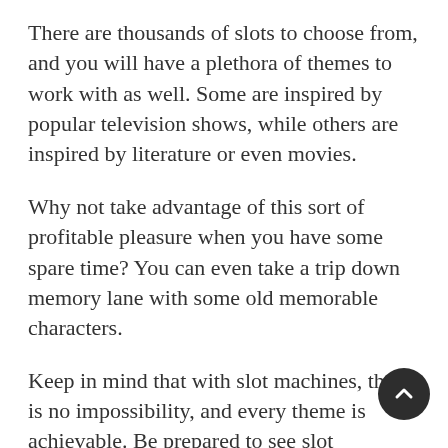There are thousands of slots to choose from, and you will have a plethora of themes to work with as well. Some are inspired by popular television shows, while others are inspired by literature or even movies.
Why not take advantage of this sort of profitable pleasure when you have some spare time? You can even take a trip down memory lane with some old memorable characters.
Keep in mind that with slot machines, there is no impossibility, and every theme is achievable. Be prepared to see slot machines of all nature, from those with exotic holiday themes to those offering cartoon, or nursery rhyme themes.
If you appreciate simplicity, you will appreciate the fruit-themed machines that are also readily available. Hot Fruits Deluxe and Fancy Fruits are two excellent